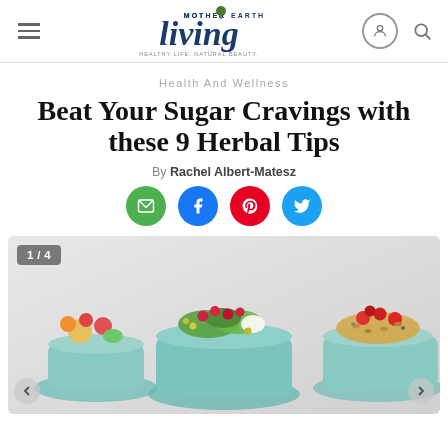Mother Earth Living — navigation header with hamburger menu, logo, user icon, search icon
Health And Wellness
Beat Your Sugar Cravings with these 9 Herbal Tips
By Rachel Albert-Matesz
[Figure (infographic): Social sharing buttons: email (green), Facebook (blue), Pinterest (red), Twitter (blue)]
[Figure (photo): Slideshow image 1 of 4 showing colorful food dishes on blue plates — salad with raspberries, fruit cup, grain dish with tomatoes — on a white background]